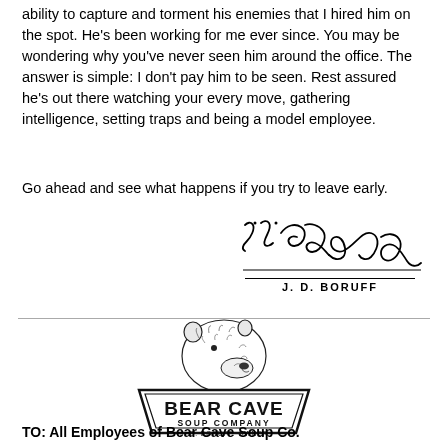ability to capture and torment his enemies that I hired him on the spot. He's been working for me ever since. You may be wondering why you've never seen him around the office. The answer is simple: I don't pay him to be seen. Rest assured he's out there watching your every move, gathering intelligence, setting traps and being a model employee.
Go ahead and see what happens if you try to leave early.
[Figure (illustration): Handwritten signature reading J.D. Boruff with printed name J. D. BORUFF below]
[Figure (logo): Bear Cave Soup Company logo with a bear illustration above a trapezoidal badge reading BEAR CAVE SOUP COMPANY J. D. BORUFF, OWNER]
TO: All Employees of Bear Cave Soup Co.